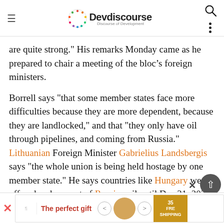Devdiscourse — Discourse of Development
are quite strong." His remarks Monday came as he prepared to chair a meeting of the bloc's foreign ministers.
Borrell says "that some member states face more difficulties because they are more dependent, because they are landlocked," and that "they only have oil through pipelines, and coming from Russia." Lithuanian Foreign Minister Gabrielius Landsbergis says "the whole union is being held hostage by one member state." He says countries like Hungary were offered a phase-out of Russian oil until Dec 31, 2024
[Figure (other): Advertisement banner: 'The perfect gift' with food imagery and navigation arrows, and 'FREE SHIPPING' section]